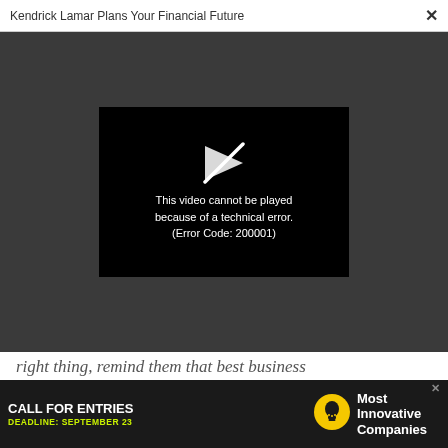Kendrick Lamar Plans Your Financial Future   ×
[Figure (screenshot): Video player showing error message: 'This video cannot be played because of a technical error. (Error Code: 200001)' with a broken play button icon on dark background]
right thing, remind them that best business practices can feed the soul and drive the economy. If it were easy, anybody could do it and, really, they can't.
How about this: when our Oregon program took 53
[Figure (infographic): Advertisement banner: CALL FOR ENTRIES — DEADLINE: SEPTEMBER 23 — Most Innovative Companies (with lightbulb icon)]